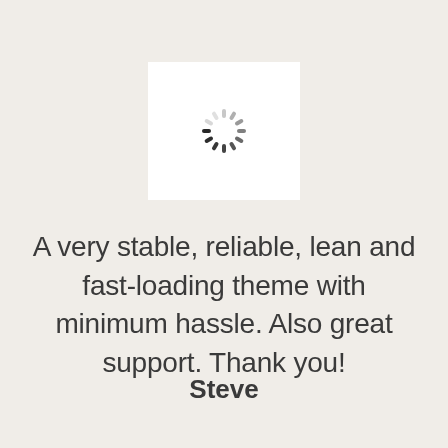[Figure (illustration): A loading spinner icon (gray radial dashes arranged in a circle) centered inside a white square box]
A very stable, reliable, lean and fast-loading theme with minimum hassle. Also great support. Thank you!
Steve